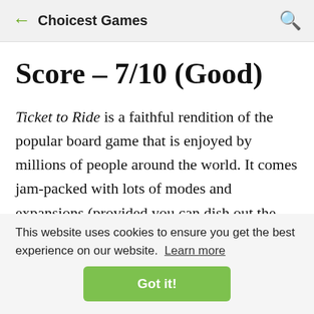← Choicest Games 🔍
Score – 7/10 (Good)
Ticket to Ride is a faithful rendition of the popular board game that is enjoyed by millions of people around the world. It comes jam-packed with lots of modes and expansions (provided you can dish out the money for them). Besides the occasional graphic glitches and the questionable choice of price, it's a great game and it you're on the lookout for a family friendly board game... buy it on Steam.
This website uses cookies to ensure you get the best experience on our website. Learn more
Got it!